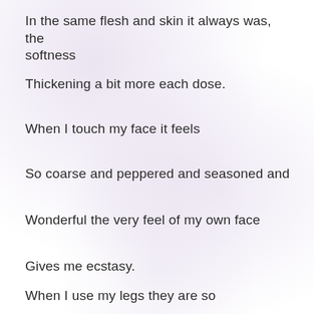In the same flesh and skin it always was, the softness
Thickening a bit more each dose.
When I touch my face it feels
So coarse and peppered and seasoned and
Wonderful the very feel of my own face
Gives me ecstasy.
When I use my legs they are so